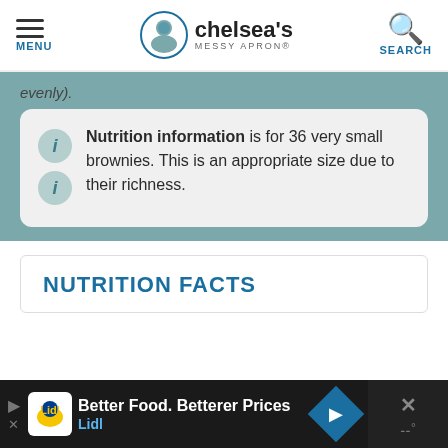MENU | chelsea's MESSY APRON® | SEARCH
evenly).
Nutrition information is for 36 very small brownies. This is an appropriate size due to their richness.
NUTRITION FACTS
Better Food. Betterer Prices Lidl